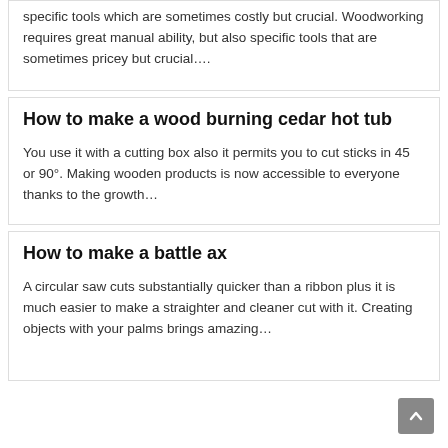specific tools which are sometimes costly but crucial. Woodworking requires great manual ability, but also specific tools that are sometimes pricey but crucial….
How to make a wood burning cedar hot tub
You use it with a cutting box also it permits you to cut sticks in 45 or 90°. Making wooden products is now accessible to everyone thanks to the growth…
How to make a battle ax
A circular saw cuts substantially quicker than a ribbon plus it is much easier to make a straighter and cleaner cut with it. Creating objects with your palms brings amazing…